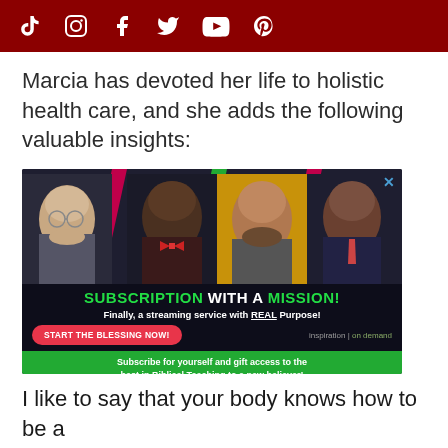Social media icons: TikTok, Instagram, Facebook, Twitter, YouTube, Pinterest
Marcia has devoted her life to holistic health care, and she adds the following valuable insights:
[Figure (advertisement): Advertisement for 'Inspiration on Demand' streaming service. Shows four men (religious speakers). Headline: 'SUBSCRIPTION WITH A MISSION! Finally, a streaming service with REAL Purpose!' CTA button: 'START THE BLESSING NOW!' Footer: 'Subscribe for yourself and gift access to the best in Biblical Teaching to a new believer!']
I like to say that your body knows how to be a